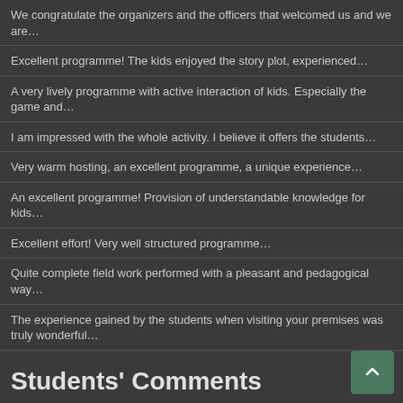We congratulate the organizers and the officers that welcomed us and we are…
Excellent programme! The kids enjoyed the story plot, experienced…
A very lively programme with active interaction of kids. Especially the game and…
I am impressed with the whole activity. I believe it offers the students…
Very warm hosting, an excellent programme, a unique experience…
An excellent programme! Provision of understandable knowledge for kids…
Excellent effort! Very well structured programme…
Quite complete field work performed with a pleasant and pedagogical way…
The experience gained by the students when visiting your premises was truly wonderful…
Very interesting programme with enthusiastic and cooperative educators…
Very good work. Nice activities, experiential and full with knowledge…
The experience that the students gained when we visited your place was really wonderful…
Students' Comments